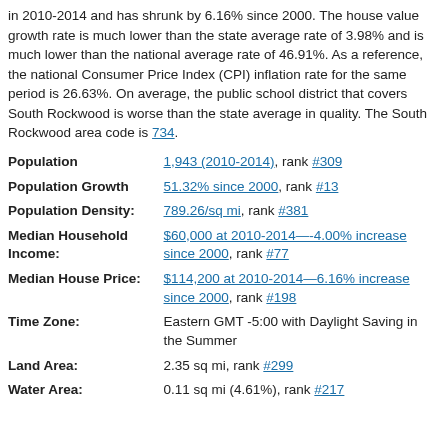in 2010-2014 and has shrunk by 6.16% since 2000. The house value growth rate is much lower than the state average rate of 3.98% and is much lower than the national average rate of 46.91%. As a reference, the national Consumer Price Index (CPI) inflation rate for the same period is 26.63%. On average, the public school district that covers South Rockwood is worse than the state average in quality. The South Rockwood area code is 734.
| Field | Value |
| --- | --- |
| Population | 1,943 (2010-2014), rank #309 |
| Population Growth | 51.32% since 2000, rank #13 |
| Population Density: | 789.26/sq mi, rank #381 |
| Median Household Income: | $60,000 at 2010-2014—-4.00% increase since 2000, rank #77 |
| Median House Price: | $114,200 at 2010-2014—6.16% increase since 2000, rank #198 |
| Time Zone: | Eastern GMT -5:00 with Daylight Saving in the Summer |
| Land Area: | 2.35 sq mi, rank #299 |
| Water Area: | 0.11 sq mi (4.61%), rank #217 |